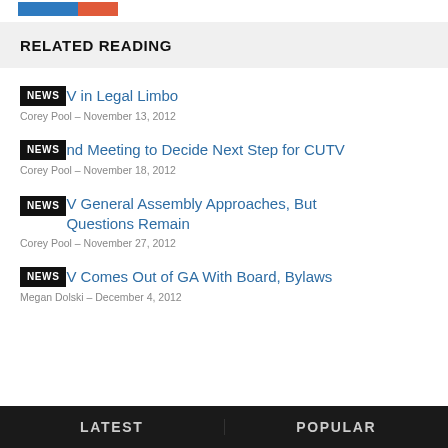[Figure (logo): Blue and red horizontal logo bar]
RELATED READING
NEWS — ...V in Legal Limbo — Corey Pool – November 13, 2012
NEWS — ...nd Meeting to Decide Next Step for CUTV — Corey Pool – November 18, 2012
NEWS — CUTV General Assembly Approaches, But Questions Remain — Corey Pool – November 27, 2012
NEWS — CUTV Comes Out of GA With Board, Bylaws — Megan Dolski – December 4, 2012
LATEST    POPULAR